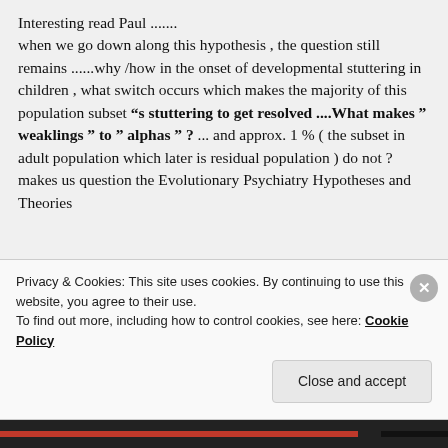Interesting read Paul .......
when we go down along this hypothesis , the question still remains ......why /how in the onset of developmental stuttering in children , what switch occurs which makes the majority of this population subset “s stuttering to get resolved ....What makes ” weaklings ” to ” alphas ” ? ... and approx. 1 % ( the subset in adult population which later is residual population ) do not ? makes us question the Evolutionary Psychiatry Hypotheses and Theories
Privacy & Cookies: This site uses cookies. By continuing to use this website, you agree to their use.
To find out more, including how to control cookies, see here: Cookie Policy